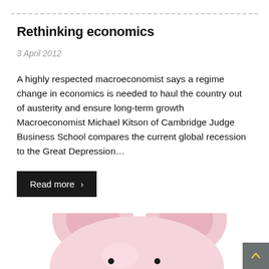Rethinking economics
3 April 2012
A highly respected macroeconomist says a regime change in economics is needed to haul the country out of austerity and ensure long-term growth Macroeconomist Michael Kitson of Cambridge Judge Business School compares the current global recession to the Great Depression…
Read more >
[Figure (photo): Close-up photo of a pink ceramic piggy bank face, showing ears, eyes, and snout against a white background.]